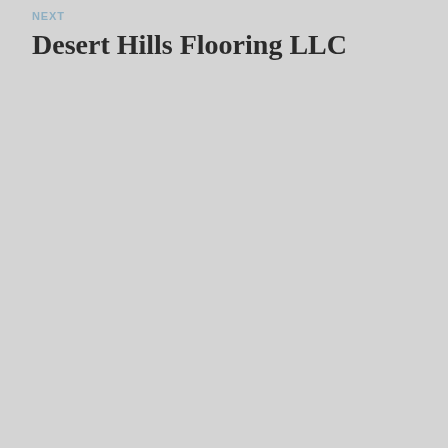NEXT
Desert Hills Flooring LLC